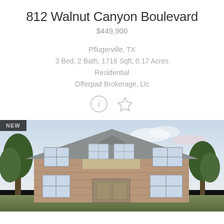812 Walnut Canyon Boulevard
$449,900
Pflugerville, TX
3 Bed, 2 Bath, 1716 Sqft, 0.17 Acres
Residential
Offerpad Brokerage, Llc
[Figure (illustration): Info circle icon and star/favorite icon]
[Figure (photo): Exterior photo of a two-story brick residential home with beige siding accent, dark roof, multiple windows, trees on sides, partly cloudy sky. Tagged as NEW listing.]